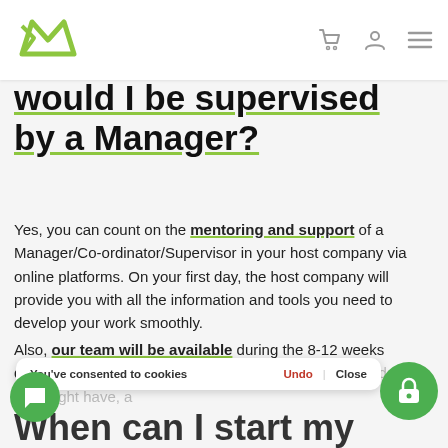e-logo navigation bar with cart, user, and menu icons
would I be supervised by a Manager?
Yes, you can count on the mentoring and support of a Manager/Co-ordinator/Supervisor in your host company via online platforms. On your first day, the host company will provide you with all the information and tools you need to develop your work smoothly.
Also, our team will be available during the 8-12 weeks duration of your remote internship for any questions or doubts you might have, and make sure your internship objectives are m…
When can I start my